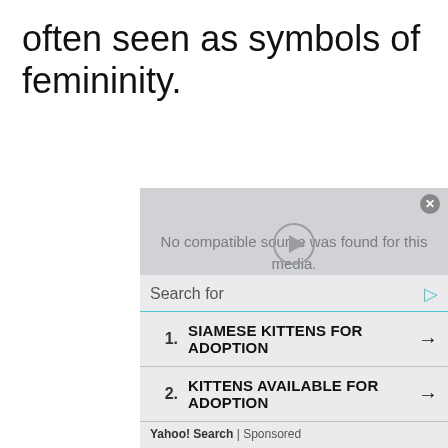often seen as symbols of femininity.
[Figure (screenshot): Video player overlay showing 'No compatible source was found for this media.' on a grey background with a close button and play button icon.]
Search for (search bar with teal arrow)
1. SIAMESE KITTENS FOR ADOPTION →
2. KITTENS AVAILABLE FOR ADOPTION →
Yahoo! Search | Sponsored